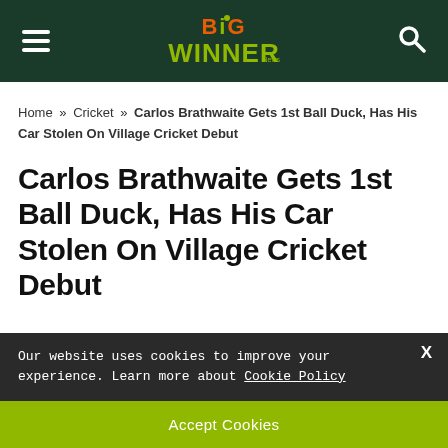Big Winner News
Home » Cricket » Carlos Brathwaite Gets 1st Ball Duck, Has His Car Stolen On Village Cricket Debut
Carlos Brathwaite Gets 1st Ball Duck, Has His Car Stolen On Village Cricket Debut
Our website uses cookies to improve your experience. Learn more about Cookie Policy
Accept Cookies